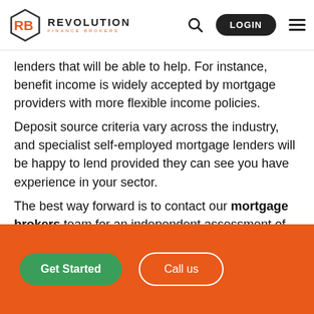Revolution Finance Brokers — LOGIN
lenders that will be able to help. For instance, benefit income is widely accepted by mortgage providers with more flexible income policies.
Deposit source criteria vary across the industry, and specialist self-employed mortgage lenders will be happy to lend provided they can see you have experience in your sector.
The best way forward is to contact our mortgage brokers team for an independent assessment of your borrowing needs and help with reapplying to a more relevant lender.
Get Started | Call us